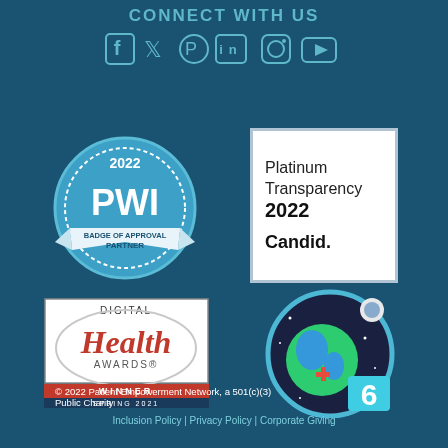CONNECT WITH US
[Figure (illustration): Social media icons: Facebook, Twitter, Pinterest, LinkedIn, Instagram, YouTube]
[Figure (logo): 2022 PWI Badge of Approval Partner circular badge in blue and white]
[Figure (logo): Platinum Transparency 2022 Candid. badge in white box with gray border]
[Figure (logo): Digital Health Awards Winner Spring 2021 badge]
[Figure (logo): SDG 6 Clean Water circular badge with earth, globe and number 6]
© 2022 Patient Empowerment Network, a 501(c)(3) Public Charity
Inclusion Policy | Privacy Policy | Corporate Giving